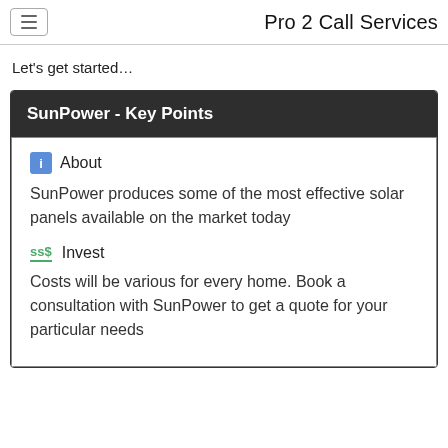Pro 2 Call Services
Let's get started…
SunPower - Key Points
About

SunPower produces some of the most effective solar panels available on the market today
Invest

Costs will be various for every home. Book a consultation with SunPower to get a quote for your particular needs